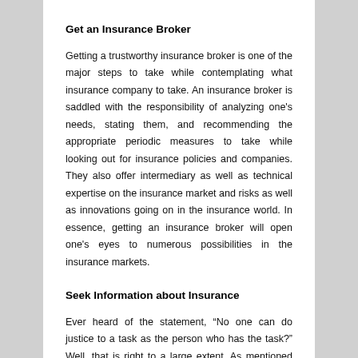Get an Insurance Broker
Getting a trustworthy insurance broker is one of the major steps to take while contemplating what insurance company to take. An insurance broker is saddled with the responsibility of analyzing one's needs, stating them, and recommending the appropriate periodic measures to take while looking out for insurance policies and companies. They also offer intermediary as well as technical expertise on the insurance market and risks as well as innovations going on in the insurance world. In essence, getting an insurance broker will open one's eyes to numerous possibilities in the insurance markets.
Seek Information about Insurance
Ever heard of the statement, “No one can do justice to a task as the person who has the task?” Well, that is right to a large extent. As mentioned earlier, the bulk of the work is on the individual who wants his or her business insured. Therefore, one must go out of one’s ways to gather enough information about everything that insurance